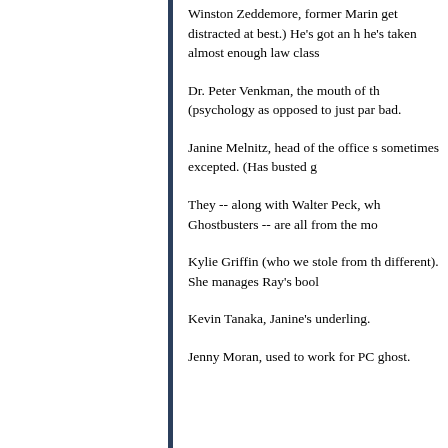Winston Zeddemore, former Marine, get distracted at best.) He's got an he's taken almost enough law class
Dr. Peter Venkman, the mouth of th (psychology as opposed to just par bad.
Janine Melnitz, head of the office s sometimes excepted. (Has busted g
They -- along with Walter Peck, wh Ghostbusters -- are all from the mo
Kylie Griffin (who we stole from th different). She manages Ray's bool
Kevin Tanaka, Janine's underling.
Jenny Moran, used to work for PC ghost.